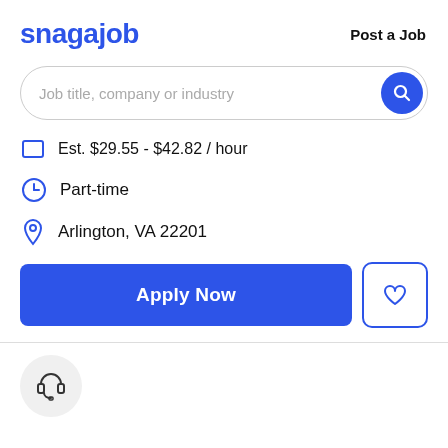[Figure (logo): Snagajob logo in blue bold text]
Post a Job
[Figure (screenshot): Search bar with placeholder text: Job title, company or industry, and a blue search button]
Est. $29.55 - $42.82 / hour
Part-time
Arlington, VA 22201
Apply Now
[Figure (illustration): Heart icon inside bordered button]
[Figure (illustration): Headset icon inside a light gray circle]